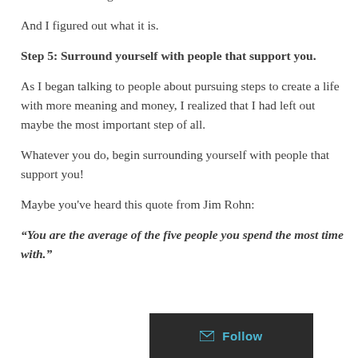like it was missing.
And I figured out what it is.
Step 5: Surround yourself with people that support you.
As I began talking to people about pursuing steps to create a life with more meaning and money, I realized that I had left out maybe the most important step of all.
Whatever you do, begin surrounding yourself with people that support you!
Maybe you've heard this quote from Jim Rohn:
“You are the average of the five people you spend the most time with.”
[Figure (other): Follow button with envelope icon on dark background]